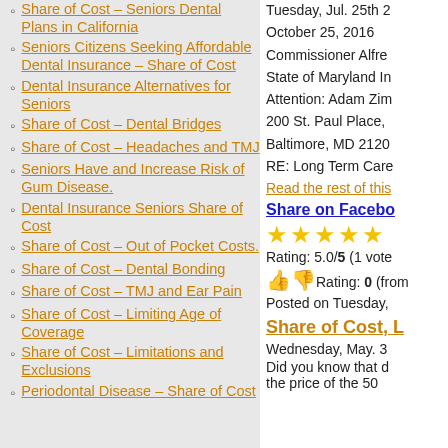Share of Cost – Seniors Dental Plans in California
Seniors Citizens Seeking Affordable Dental Insurance – Share of Cost
Dental Insurance Alternatives for Seniors
Share of Cost – Dental Bridges
Share of Cost – Headaches and TMJ
Seniors Have and Increase Risk of Gum Disease.
Dental Insurance Seniors Share of Cost
Share of Cost – Out of Pocket Costs.
Share of Cost – Dental Bonding
Share of Cost – TMJ and Ear Pain
Share of Cost – Limiting Age of Coverage
Share of Cost – Limitations and Exclusions
Periodontal Disease – Share of Cost
Tuesday, Jul. 25th 2
October 25, 2016
Commissioner Alfre
State of Maryland In
Attention: Adam Zim
200 St. Paul Place,
Baltimore, MD 2120
RE: Long Term Care
Read the rest of this
Share on Facebo
Rating: 5.0/5 (1 vote
Rating: 0 (from
Posted on Tuesday,
Share of Cost, L
Wednesday, May. 3
Did you know that d
the price of the 50